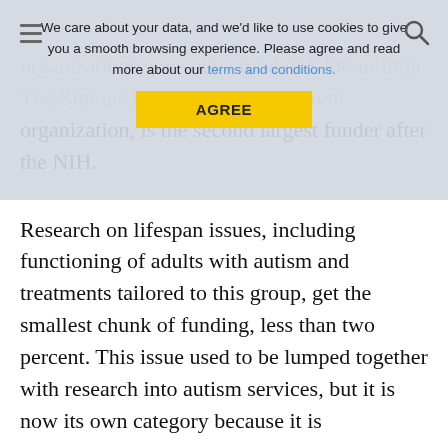[Figure (other): Cookie consent overlay banner with text 'We care about your data, and we'd like to use cookies to give you a smooth browsing experience. Please agree and read more about our terms and conditions.' and a yellow AGREE button.]
organizations gave out a total of $408 million. The Simons Foundation, Spectrum's org's parent organization, is the second largest funder after the NIH.
Research on lifespan issues, including functioning of adults with autism and treatments tailored to this group, get the smallest chunk of funding, less than two percent. This issue used to be lumped together with research into autism services, but it is now its own category because it is